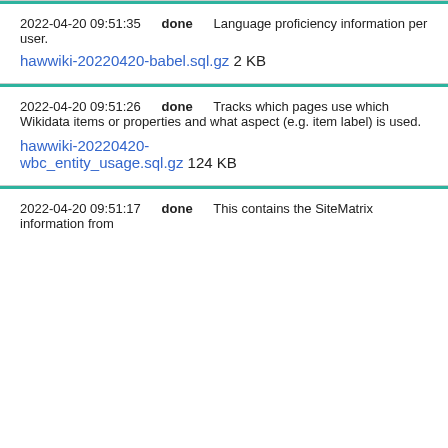2022-04-20 09:51:35   done   Language proficiency information per user.
hawwiki-20220420-babel.sql.gz 2 KB
2022-04-20 09:51:26   done   Tracks which pages use which Wikidata items or properties and what aspect (e.g. item label) is used.
hawwiki-20220420-wbc_entity_usage.sql.gz 124 KB
2022-04-20 09:51:17   done   This contains the SiteMatrix information from